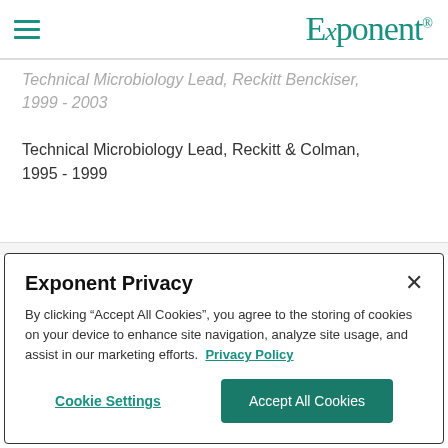Exponent (logo)
Technical Microbiology Lead, Reckitt Benckiser, 1999 - 2003
Technical Microbiology Lead, Reckitt & Colman, 1995 - 1999
Exponent Privacy
By clicking “Accept All Cookies”, you agree to the storing of cookies on your device to enhance site navigation, analyze site usage, and assist in our marketing efforts.  Privacy Policy
Cookie Settings | Accept All Cookies